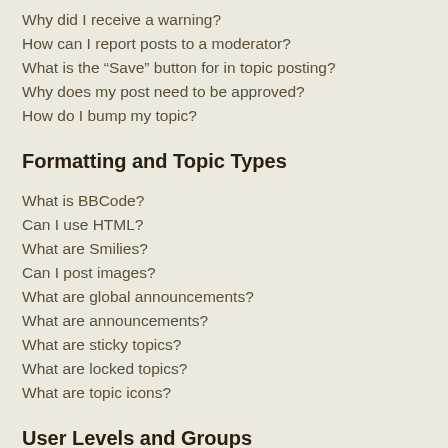Why did I receive a warning?
How can I report posts to a moderator?
What is the “Save” button for in topic posting?
Why does my post need to be approved?
How do I bump my topic?
Formatting and Topic Types
What is BBCode?
Can I use HTML?
What are Smilies?
Can I post images?
What are global announcements?
What are announcements?
What are sticky topics?
What are locked topics?
What are topic icons?
User Levels and Groups
What are Administrators?
What are Moderators?
What are usergroups?
Where are the usergroups and how do I join one?
How do I become a usergroup leader?
Why do some usergroups appear in a different colour?